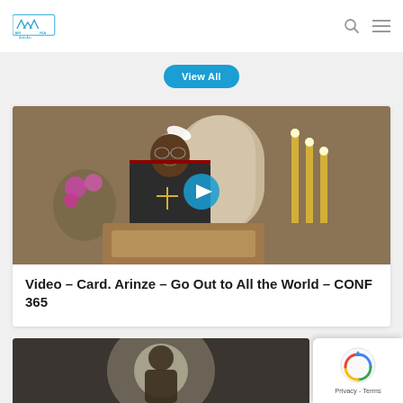AIRARIA - Audio Ave
View All
[Figure (screenshot): Video thumbnail showing a Cardinal in black vestments at a wooden pulpit in a church setting with flowers and candles. A blue circular play button is overlaid in the center.]
Video – Card. Arinze – Go Out to All the World – CONF 365
[Figure (photo): Partial view of a second video thumbnail showing a figure with light glow in a church setting.]
[Figure (other): reCAPTCHA badge with Google reCAPTCHA logo and Privacy - Terms text.]